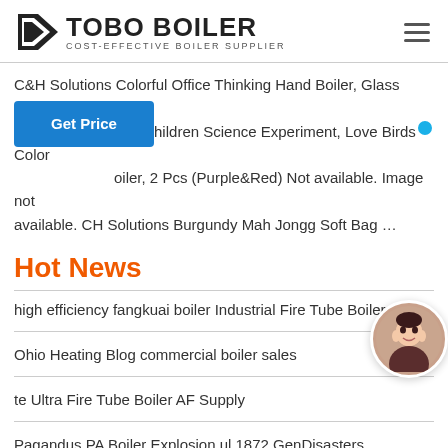TOBO BOILER — COST-EFFECTIVE BOILER SUPPLIER
C&H Solutions Colorful Office Thinking Hand Boiler, Glass Science er, Children Science Experiment, Love Birds Color oiler, 2 Pcs (Purple&Red) Not available. Image not available. CH Solutions Burgundy Mah Jongg Soft Bag …
[Figure (other): Blue 'Get Price' button]
Hot News
high efficiency fangkuai boiler Industrial Fire Tube Boiler
Ohio Heating Blog commercial boiler sales
te Ultra Fire Tube Boiler AF Supply
Pagandus PA Boiler Explosion ul 1872 GenDisasters
Model of vertical crosstube boiler MAAS Collection
[Figure (photo): Avatar photo of a woman with a blue online indicator dot]
[Figure (logo): WhatsApp green button with WhatsApp icon and text 'WhatsApp']